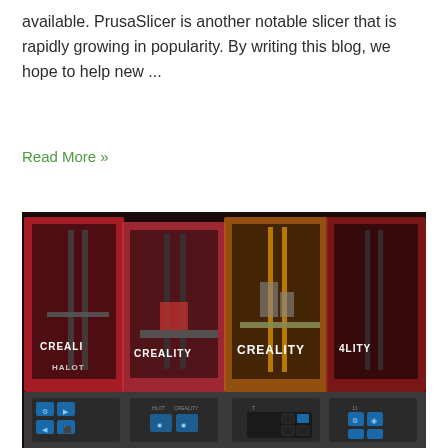available. PrusaSlicer is another notable slicer that is rapidly growing in popularity. By writing this blog, we hope to help new ...
Read More »
[Figure (photo): Photo showing multiple Creality Halot resin 3D printers side by side. The printers have red and orange transparent enclosures with 'CREALITY' branding and 'HALOT' label visible. The bottom section shows control panels with blue touchscreen displays.]